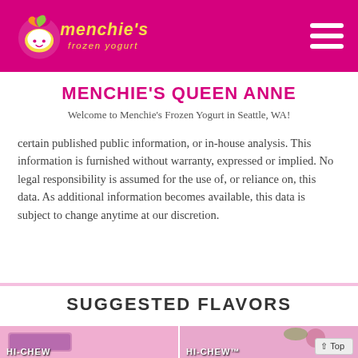[Figure (logo): Menchie's Frozen Yogurt logo — colorful soft-serve swirl character with the brand name in pink cursive and 'frozen yogurt' in yellow script, on a magenta/pink background header bar]
MENCHIE'S QUEEN ANNE
Welcome to Menchie's Frozen Yogurt in Seattle, WA!
certain published public information, or in-house analysis. This information is furnished without warranty, expressed or implied. No legal responsibility is assumed for the use of, or reliance on, this data. As additional information becomes available, this data is subject to change anytime at our discretion.
SUGGESTED FLAVORS
[Figure (photo): Left flavor card showing a Hi-Chew candy wrapper on a pink background with text 'HI-CHEW' in white bold letters]
[Figure (photo): Right flavor card showing a Hi-Chew frozen yogurt scoop with green leaves on a pink background with text 'HI-CHEW™' in white bold letters]